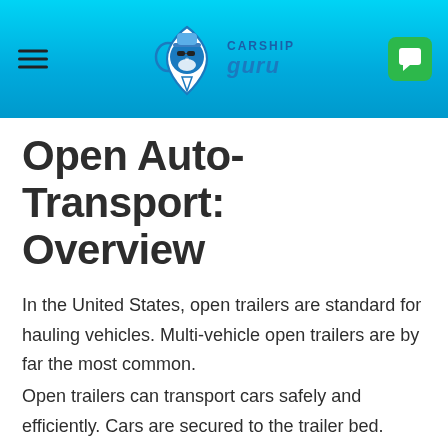CARSHIP guru
Open Auto-Transport: Overview
In the United States, open trailers are standard for hauling vehicles. Multi-vehicle open trailers are by far the most common. Open trailers can transport cars safely and efficiently. Cars are secured to the trailer bed. Their sides are